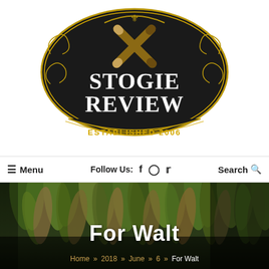[Figure (logo): Stogie Review logo — ornate black and gold badge with crossed cigars, scrollwork, and 'ESTABLISHED 2006' banner at the bottom]
≡ Menu   Follow Us: f  ⊙  🐦   Search 🔍
[Figure (photo): Dark photograph of hanging tobacco leaves, green and brown, densely packed in rows]
For Walt
Home » 2018 » June » 6 » For Walt